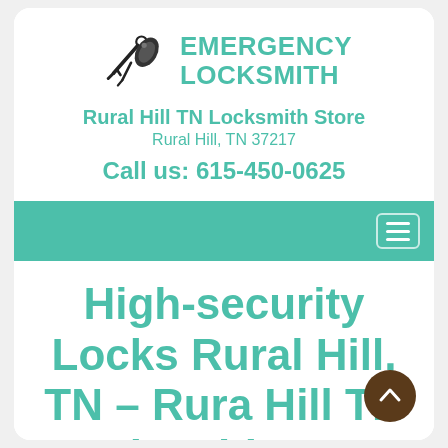[Figure (logo): Emergency Locksmith logo with keys icon and teal text reading EMERGENCY LOCKSMITH]
Rural Hill TN Locksmith Store
Rural Hill, TN 37217
Call us: 615-450-0625
Navigation bar with hamburger menu
High-security Locks Rural Hill, TN – Rural Hill TN Locksmith Store